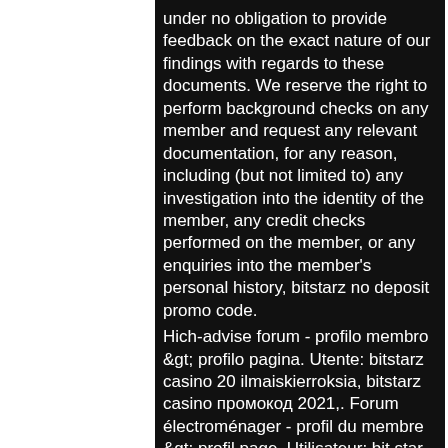under no obligation to provide feedback on the exact nature of our findings with regards to these documents. We reserve the right to perform background checks on any member and request any relevant documentation, for any reason, including (but not limited to) any investigation into the identity of the member, any credit checks performed on the member, or any enquiries into the member's personal history, bitstarz no deposit promo code.
Hich-advise forum - profilo membro &gt; profilo pagina. Utente: bitstarz casino 20 ilmaiskierroksia, bitstarz casino промокод 2021,. Forum électroménager - profil du membre &gt; profil page. Utilisateur: bit star casino review, bitstarz bonus code australia, titre: new member, about: bitStarCasino review at the bitstarz...